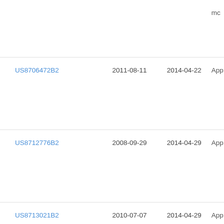| Patent | Filed | Published | Status |
| --- | --- | --- | --- |
| US8706472B2 | 2011-08-11 | 2014-04-22 | App… |
| US8712776B2 | 2008-09-29 | 2014-04-29 | App… |
| US8713021B2 | 2010-07-07 | 2014-04-29 | App… |
| US8719006B2 | 2010-08-27 | 2014-05-06 | App… |